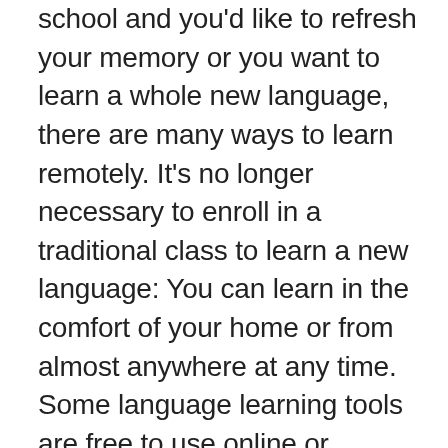school and you'd like to refresh your memory or you want to learn a whole new language, there are many ways to learn remotely. It's no longer necessary to enroll in a traditional class to learn a new language: You can learn in the comfort of your home or from almost anywhere at any time. Some language learning tools are free to use online or download to your computer or mobile device, and others involve a small charge. Using technological tools to learn a language has never been easier or more convenient.